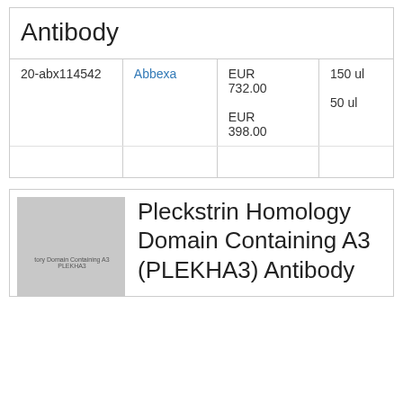Antibody
|  |  |  |  |
| --- | --- | --- | --- |
| 20-abx114542 | Abbexa | EUR 732.00
EUR 398.00 | 150 ul
50 ul |
[Figure (photo): Placeholder image for Pleckstrin Homology Domain Containing A3 (PLEKHA3) Antibody product]
Pleckstrin Homology Domain Containing A3 (PLEKHA3) Antibody